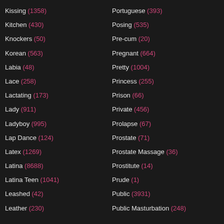Kissing (1358)
Kitchen (430)
Knockers (50)
Korean (563)
Labia (48)
Lace (258)
Lactating (173)
Lady (911)
Ladyboy (995)
Lap Dance (124)
Latex (1269)
Latina (8688)
Latina Teen (1041)
Leashed (42)
Leather (230)
Portuguese (393)
Posing (535)
Pre-cum (20)
Pregnant (664)
Pretty (1004)
Princess (255)
Prison (66)
Private (456)
Prolapse (67)
Prostate (71)
Prostate Massage (36)
Prostitute (14)
Prude (1)
Public (3931)
Public Masturbation (248)